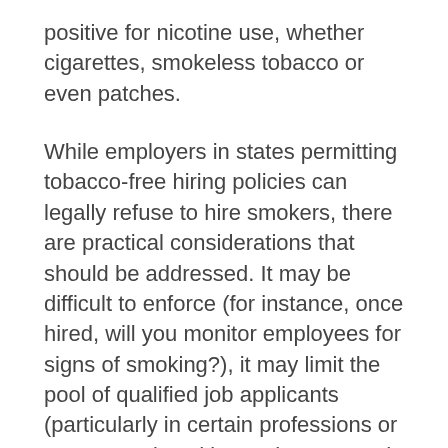positive for nicotine use, whether cigarettes, smokeless tobacco or even patches.
While employers in states permitting tobacco-free hiring policies can legally refuse to hire smokers, there are practical considerations that should be addressed. It may be difficult to enforce (for instance, once hired, will you monitor employees for signs of smoking?), it may limit the pool of qualified job applicants (particularly in certain professions or age groups) and it may be resented by even nonsmokers, who see such policies as unwarranted intrusions into their off-duty conduct.
Of the states that do not permit tobacco-free hiring policies, nicotine testing is of no practical value. Some such states (including Colorado, Illinois and New York) have enacted broader laws that prevent employers from employment discrimination based on lawful off-